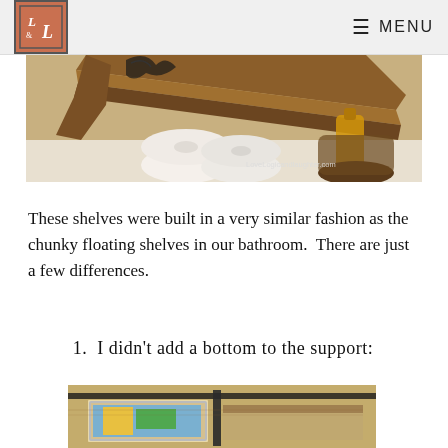L&L logo | MENU
[Figure (photo): Close-up photo of a wooden shelf with toilet paper rolls and a bottle of soap/lotion in a basket, watermark LoveLogicandlaughter.com]
These shelves were built in a very similar fashion as the chunky floating shelves in our bathroom.  There are just a few differences.
1.  I didn't add a bottom to the support:
[Figure (photo): Photo of floating shelves on a wall with picture frames leaning against them]